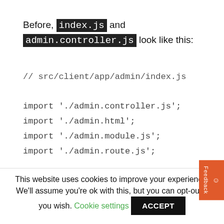Before, index.js and admin.controller.js look like this:
// src/client/app/admin/index.js

import './admin.controller.js';
import './admin.html';
import './admin.module.js';
import './admin.route.js';
// src/client/app/admin/admin.controller
This website uses cookies to improve your experience. We'll assume you're ok with this, but you can opt-out if you wish.
Cookie settings
ACCEPT